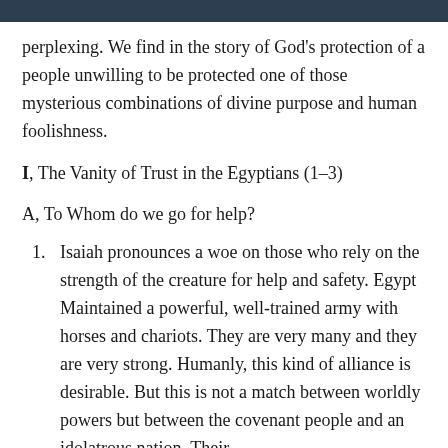perplexing. We find in the story of God's protection of a people unwilling to be protected one of those mysterious combinations of divine purpose and human foolishness.
I, The Vanity of Trust in the Egyptians (1-3)
A, To Whom do we go for help?
Isaiah pronounces a woe on those who rely on the strength of the creature for help and safety. Egypt Maintained a powerful, well-trained army with horses and chariots. They are very many and they are very strong. Humanly, this kind of alliance is desirable. But this is not a match between worldly powers but between the covenant people and an idolatrous nation. Their